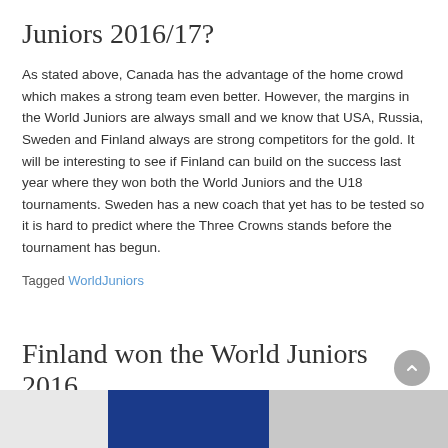Juniors 2016/17?
As stated above, Canada has the advantage of the home crowd which makes a strong team even better. However, the margins in the World Juniors are always small and we know that USA, Russia, Sweden and Finland always are strong competitors for the gold. It will be interesting to see if Finland can build on the success last year where they won both the World Juniors and the U18 tournaments. Sweden has a new coach that yet has to be tested so it is hard to predict where the Three Crowns stands before the tournament has begun.
Tagged WorldJuniors
Finland won the World Juniors 2016
[Figure (photo): Partial photo at bottom of page showing a blue and silver background, likely related to World Juniors 2016 Finland championship.]